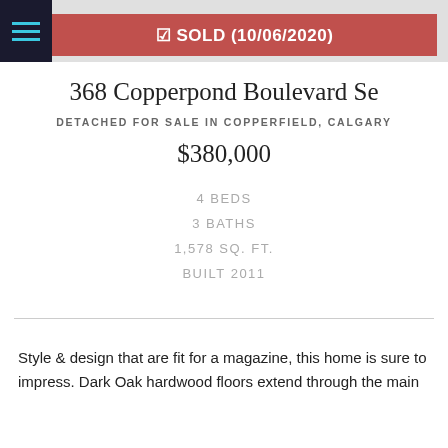SOLD (10/06/2020)
368 Copperpond Boulevard Se
DETACHED FOR SALE IN COPPERFIELD, CALGARY
$380,000
4 BEDS
3 BATHS
1,578 SQ. FT.
BUILT 2011
Style & design that are fit for a magazine, this home is sure to impress. Dark Oak hardwood floors extend through the main